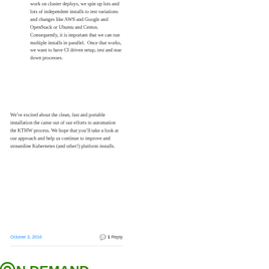work on cluster deploys, we spin up lots and lots of independent installs to test variations and changes like AWS and Google and OpenStack or Ubuntu and Centos.  Consequently, it is important that we can run multiple installs in parallel.  Once that works, we want to have CI driven setup, test and tear down processes.
We're excited about the clean, fast and portable installation the came out of our efforts to automation the KTHW process. We hope that you'll take a look at our approach and help us continue to improve and streamline Kubernetes (and other!) platform installs.
October 3, 2016
1 Reply
[Figure (logo): ON DEMAND logo in large bold green text with circular O graphic element]